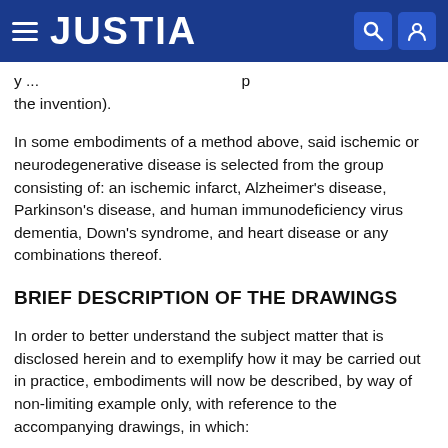JUSTIA
y ... p the invention).
In some embodiments of a method above, said ischemic or neurodegenerative disease is selected from the group consisting of: an ischemic infarct, Alzheimer's disease, Parkinson's disease, and human immunodeficiency virus dementia, Down's syndrome, and heart disease or any combinations thereof.
BRIEF DESCRIPTION OF THE DRAWINGS
In order to better understand the subject matter that is disclosed herein and to exemplify how it may be carried out in practice, embodiments will now be described, by way of non-limiting example only, with reference to the accompanying drawings, in which:
FIG. 1 shows the effect of IAI-ITT to ...